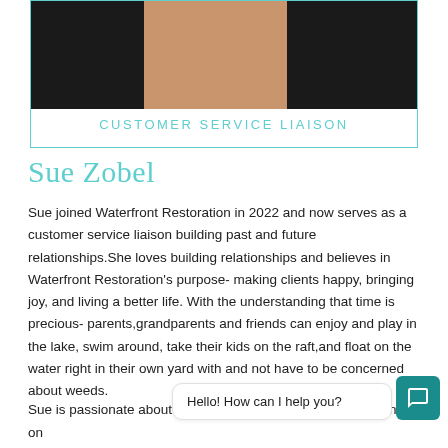[Figure (photo): Portrait photo of Sue Zobel, showing neck and shoulders against dark background]
CUSTOMER SERVICE LIAISON
Sue Zobel
Sue joined Waterfront Restoration in 2022 and now serves as a customer service liaison building past and future relationships.She loves building relationships and believes in Waterfront Restoration's purpose- making clients happy, bringing joy, and living a better life. With the understanding that time is precious- parents,grandparents and friends can enjoy and play in the lake, swim around, take their kids on the raft,and float on the water right in their own yard with and not have to be concerned about weeds.
Hello! How can I help you?
Sue is passionate about boating, jet skiing, kayaking and being on